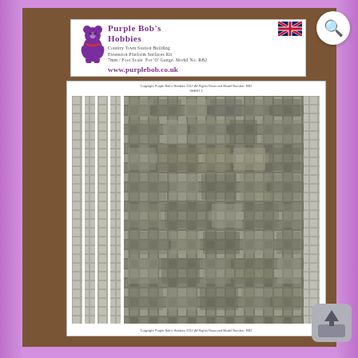[Figure (photo): Product photo of Purple Bob's Hobbies Country Town Station Building Extension Platform Surfaces Kit, 7mm/foot scale for O Gauge, Model No. RB2. Shows a white label/box top with brand name, bear logo, UK flag, and website www.purplebob.co.uk. Below is a printed sheet (Sheet 1) showing stone paving patterns with cobblestone/flagstone textures in grey tones, arranged with narrow strip sections on the left and larger paving area on the right. Image is set against a brown textured (carpet) background on a purple gradient background. A search magnifier icon appears top-right and an upload/share icon appears bottom-right.]